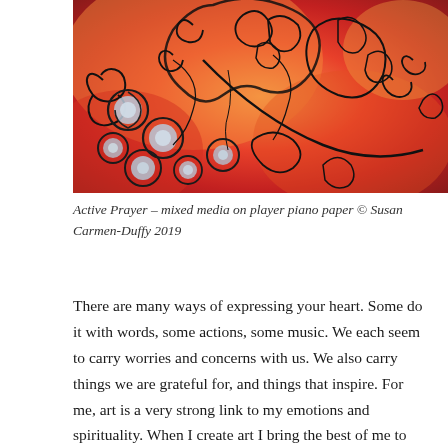[Figure (illustration): Mixed media artwork on player piano paper showing swirling floral and decorative patterns in red, orange and pink tones with black ink work and circular spiral motifs]
Active Prayer – mixed media on player piano paper © Susan Carmen-Duffy 2019
There are many ways of expressing your heart. Some do it with words, some actions, some music. We each seem to carry worries and concerns with us. We also carry things we are grateful for, and things that inspire. For me, art is a very strong link to my emotions and spirituality. When I create art I bring the best of me to the surface. I feel spiritually balanced. Art heals my aching heart and celebrates my dearest joys.